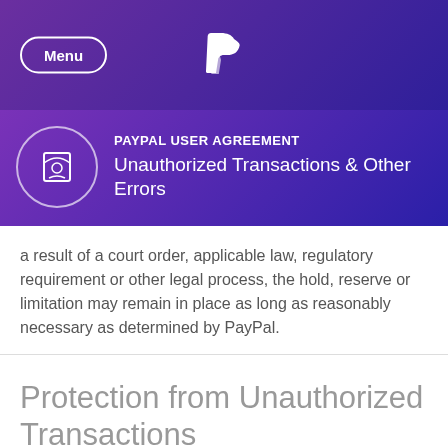Menu | PayPal
PAYPAL USER AGREEMENT — Unauthorized Transactions & Other Errors
a result of a court order, applicable law, regulatory requirement or other legal process, the hold, reserve or limitation may remain in place as long as reasonably necessary as determined by PayPal.
Protection from Unauthorized Transactions